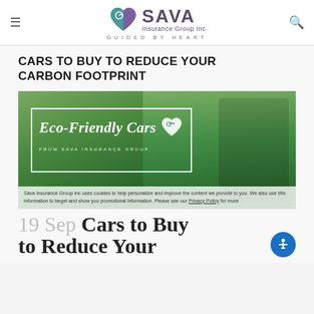[Figure (logo): SAVA Insurance Group Inc logo with heart icon and tagline GUIDED BY HEART]
CARS TO BUY TO REDUCE YOUR CARBON FOOTPRINT
[Figure (photo): Eco-Friendly Cars from SAVA Insurance Group - photo of electric car charging with green overlay and text banner]
Sava Insurance Group Inc uses cookies to help personalize and improve the content we provide to you. We also use this information to target and show you promotional information. Please see our Privacy Policy for more
19 Sep Cars to Buy to Reduce Your